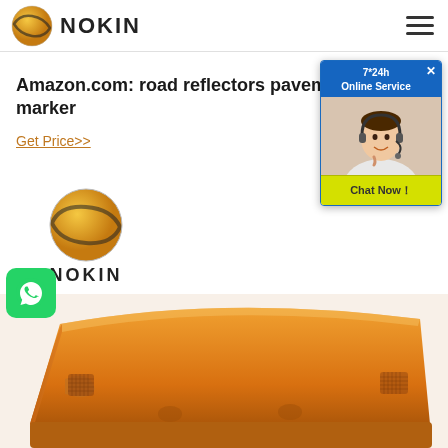NOKIN
Amazon.com: road reflectors pavement marker
Get Price>>
[Figure (logo): NOKIN logo — orange/gold globe with a road stripe across it, with text 'NOKIN' below]
[Figure (photo): Close-up photo of an orange/amber plastic road pavement marker/reflector product]
[Figure (infographic): Advertisement popup: '7*24h Online Service' with a woman wearing headset and 'Chat Now!' button]
[Figure (illustration): WhatsApp contact button (green rounded square with phone icon)]